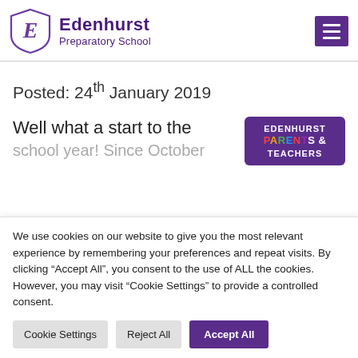Edenhurst Preparatory School
Posted: 24th January 2019
Well what a start to the school year! Since October
[Figure (logo): Edenhurst Parents & Teachers badge/logo in purple with colourful letters]
We use cookies on our website to give you the most relevant experience by remembering your preferences and repeat visits. By clicking “Accept All”, you consent to the use of ALL the cookies. However, you may visit "Cookie Settings" to provide a controlled consent.